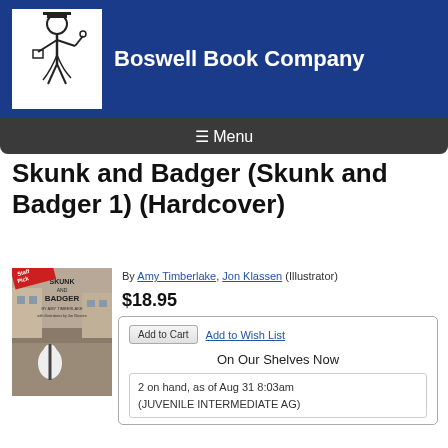[Figure (logo): Boswell Book Company logo - colonial figure holding books]
Boswell Book Company
☰ Menu
Skunk and Badger (Skunk and Badger 1) (Hardcover)
[Figure (photo): Book cover of Skunk and Badger with Staff Pick ribbon]
By Amy Timberlake, Jon Klassen (Illustrator)
$18.95
Add to Cart   Add to Wish List
On Our Shelves Now
2 on hand, as of Aug 31 8:03am (JUVENILE INTERMEDIATE AG)